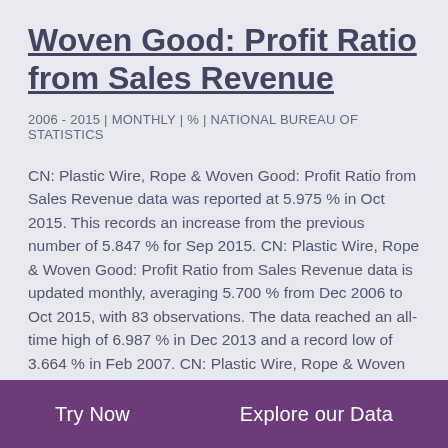Woven Good: Profit Ratio from Sales Revenue
2006 - 2015 | MONTHLY | % | NATIONAL BUREAU OF STATISTICS
CN: Plastic Wire, Rope & Woven Good: Profit Ratio from Sales Revenue data was reported at 5.975 % in Oct 2015. This records an increase from the previous number of 5.847 % for Sep 2015. CN: Plastic Wire, Rope & Woven Good: Profit Ratio from Sales Revenue data is updated monthly, averaging 5.700 % from Dec 2006 to Oct 2015, with 83 observations. The data reached an all-time high of 6.987 % in Dec 2013 and a record low of 3.664 % in Feb 2007. CN: Plastic Wire, Rope & Woven Good: Profit Ratio from Sales Revenue data remains active status in CEIC and is reported by National Bureau of Statistics. The data is categorized under China Premium Database's Industrial Sector – Table CN.BII: Plastic Product: Plastic Wire,
Try Now   Explore our Data